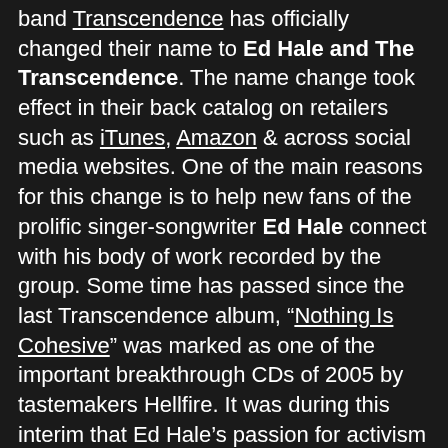band Transcendence has officially changed their name to Ed Hale and The Transcendence. The name change took effect in their back catalog on retailers such as iTunes, Amazon & across social media websites. One of the main reasons for this change is to help new fans of the prolific singer-songwriter Ed Hale connect with his body of work recorded by the group. Some time has passed since the last Transcendence album, "Nothing Is Cohesive" was marked as one of the important breakthrough CDs of 2005 by tastemakers Hellfire. It was during this interim that Ed Hale's passion for activism took him across the continents to help people, building houses in places like Colombia and Ghana. He also got married, wrote a book, starred in the Transcendent Television series, traveled to Iran as an ambassador, founded the Dying Van Gogh record label and somehow managed time to launch his solo career